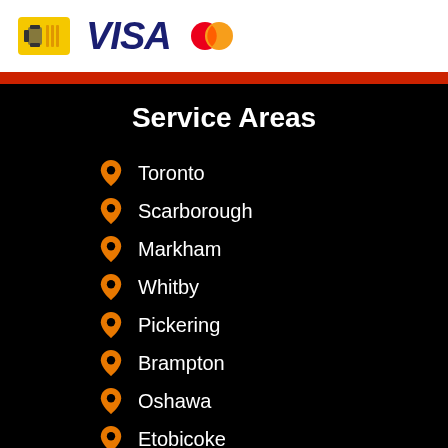[Figure (logo): Interac and Visa and Mastercard logos on white background]
Service Areas
Toronto
Scarborough
Markham
Whitby
Pickering
Brampton
Oshawa
Etobicoke
Richmond Hill
Peterborough
Oakville
Mississauga